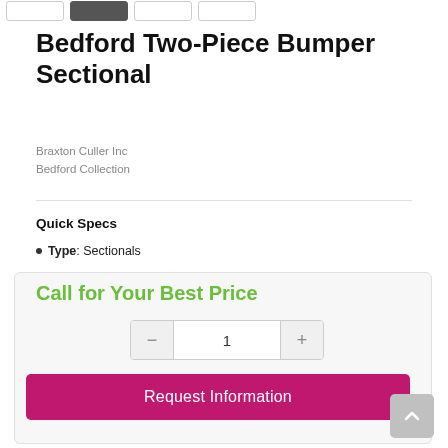[Figure (other): Thumbnail image strip with four product image thumbnails, second one highlighted/active]
Bedford Two-Piece Bumper Sectional
Braxton Culler Inc
Bedford Collection
Quick Specs
Type: Sectionals
Call for Your Best Price
- 1 +
Request Information